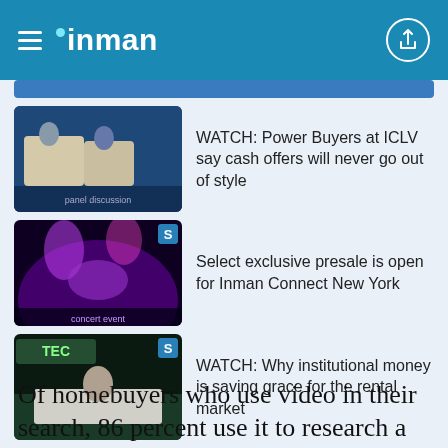inman
WATCH: Power Buyers at ICLV say cash offers will never go out of style
Select exclusive presale is open for Inman Connect New York
WATCH: Why institutional money is saving grace for the rental market
Of homebuyers who use video in their search, 86 percent use it to research a particular community, and 70 percent use it to tour the inside of homes. These two uses are far and